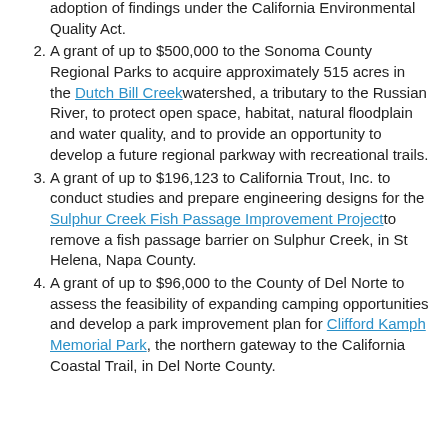adoption of findings under the California Environmental Quality Act.
A grant of up to $500,000 to the Sonoma County Regional Parks to acquire approximately 515 acres in the Dutch Bill Creek watershed, a tributary to the Russian River, to protect open space, habitat, natural floodplain and water quality, and to provide an opportunity to develop a future regional parkway with recreational trails.
A grant of up to $196,123 to California Trout, Inc. to conduct studies and prepare engineering designs for the Sulphur Creek Fish Passage Improvement Project to remove a fish passage barrier on Sulphur Creek, in St Helena, Napa County.
A grant of up to $96,000 to the County of Del Norte to assess the feasibility of expanding camping opportunities and develop a park improvement plan for Clifford Kamph Memorial Park, the northern gateway to the California Coastal Trail, in Del Norte County.